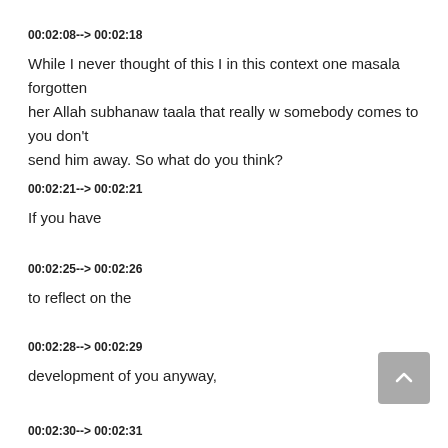00:02:08--> 00:02:18
While I never thought of this I in this context one masala forgotten her Allah subhanaw taala that really w somebody comes to you don't send him away. So what do you think?
00:02:21--> 00:02:21
If you have
00:02:25--> 00:02:26
to reflect on the
00:02:28--> 00:02:29
development of you anyway,
00:02:30--> 00:02:31